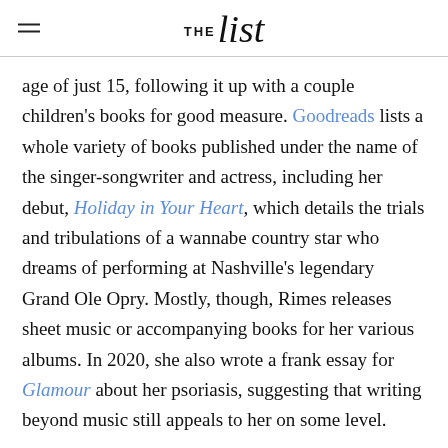THE list
age of just 15, following it up with a couple children's books for good measure. Goodreads lists a whole variety of books published under the name of the singer-songwriter and actress, including her debut, Holiday in Your Heart, which details the trials and tribulations of a wannabe country star who dreams of performing at Nashville's legendary Grand Ole Opry. Mostly, though, Rimes releases sheet music or accompanying books for her various albums. In 2020, she also wrote a frank essay for Glamour about her psoriasis, suggesting that writing beyond music still appeals to her on some level.